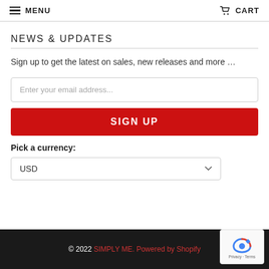MENU   CART
NEWS & UPDATES
Sign up to get the latest on sales, new releases and more …
Enter your email address...
SIGN UP
Pick a currency:
USD
© 2022 SIMPLY ME. Powered by Shopify